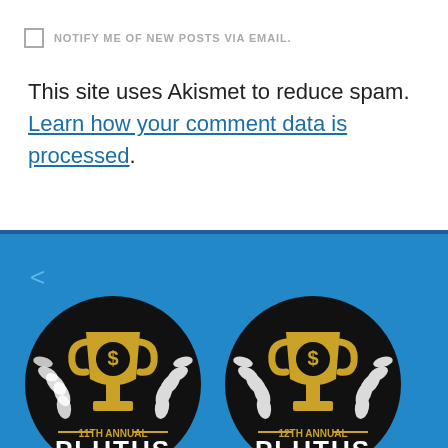NOTIFY ME OF NEW POSTS VIA EMAIL.
This site uses Akismet to reduce spam. Learn how your comment data is processed.
[Figure (illustration): Blue banner section with a left-pointing navigation arrow and two Plutus Award logos side by side. Left logo: 11th Annual Plutus award with gold trophy on black circle. Right logo: 12th Annual Plutus award with gold trophy on black circle.]